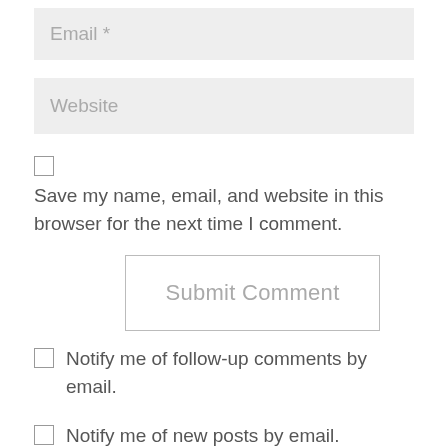Email *
Website
Save my name, email, and website in this browser for the next time I comment.
Submit Comment
Notify me of follow-up comments by email.
Notify me of new posts by email.